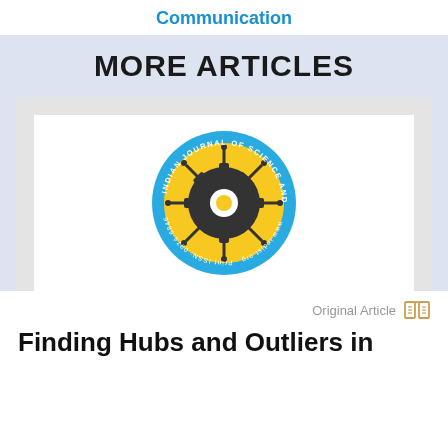Communication
MORE ARTICLES
[Figure (logo): Indian Journal of Science and Technology circular logo with gear and circuit motif in yellow and blue]
Original Article
Finding Hubs and Outliers in